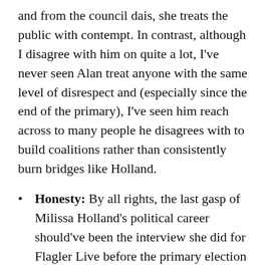and from the council dais, she treats the public with contempt. In contrast, although I disagree with him on quite a lot, I've never seen Alan treat anyone with the same level of disrespect and (especially since the end of the primary), I've seen him reach across to many people he disagrees with to build coalitions rather than consistently burn bridges like Holland.
Honesty: By all rights, the last gasp of Milissa Holland's political career should've been the interview she did for Flagler Live before the primary election (along with the other candidates) when she claimed that she had never raised taxes as Mayor. Although he's a longtime friend and supporter, Pierre Tristam called out Holland's boldfaced lie—she's